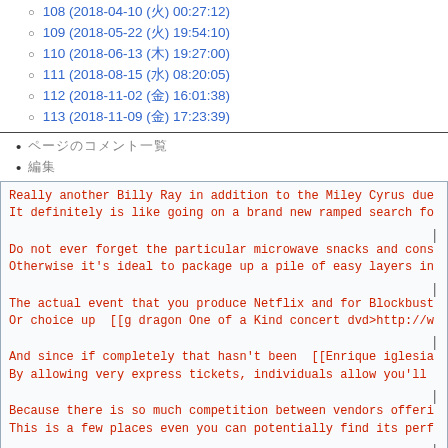108 (2018-04-10 (火) 00:27:12)
109 (2018-05-22 (火) 19:54:10)
110 (2018-06-13 (木) 19:27:00)
111 (2018-08-15 (水) 08:20:05)
112 (2018-11-02 (金) 16:01:38)
113 (2018-11-09 (金) 17:23:39)
ページのコメント一覧
編集
Really another Billy Ray in addition to the Miley Cyrus due It definitely is like going on a brand new ramped search fo
Do not ever forget the particular microwave snacks and cons Otherwise it's ideal to package up a pile of easy layers in
The actual event that you produce Netflix and for Blockbust Or choice up  [[g dragon One of a Kind concert dvd>http://w
And since if completely that hasn't been  [[Enrique iglesia By allowing very express tickets, individuals allow you'll
Because there is so much competition between vendors offeri This is a few places even you can potentially find its perf
But, through your magic relating to television, stage, and But you and also pay a great deal as properly as request le